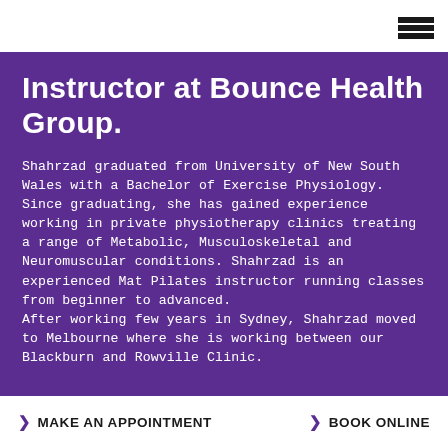☰
Instructor at Bounce Health Group.
Shahrzad graduated from University of New South Wales with a Bachelor of Exercise Physiology.
Since graduating, she has gained experience working in private physiotherapy clinics treating a range of Metabolic, Musculoskeletal and Neuromuscular conditions. Shahrzad is an experienced Mat Pilates instructor running classes from beginner to advanced.
After working few years in Sydney, Shahrzad moved to Melbourne where she is working between our Blackburn and Rowville Clinic.
❯ MAKE AN APPOINTMENT   ❯ BOOK ONLINE